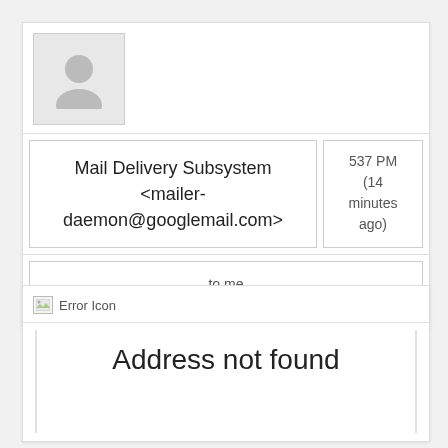[Figure (other): Generic user avatar placeholder — grey square with person silhouette icon]
Mail Delivery Subsystem <mailer-daemon@googlemail.com>
537 PM (14 minutes ago)
to me
[Figure (other): Broken/error image icon labeled 'Error Icon']
Address not found